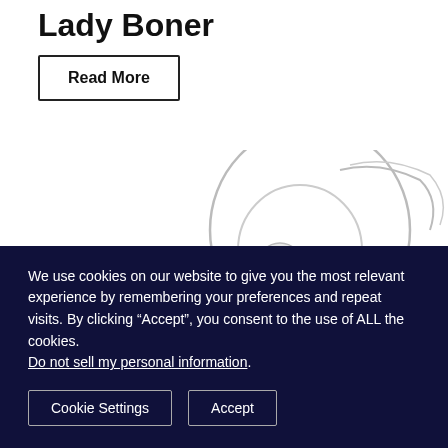Lady Boner
Read More
[Figure (illustration): Sketch-style line drawing illustration of a character, partially visible, with circular/spherical shapes and flowing hair lines]
We use cookies on our website to give you the most relevant experience by remembering your preferences and repeat visits. By clicking “Accept”, you consent to the use of ALL the cookies. Do not sell my personal information.
Cookie Settings
Accept